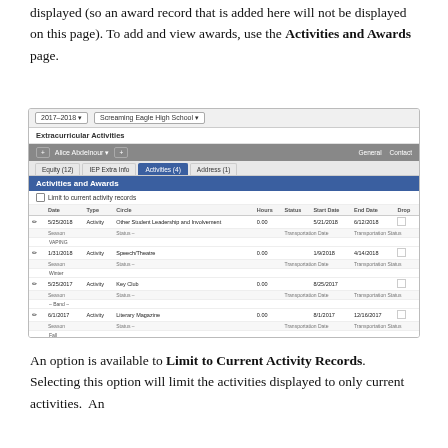displayed (so an award record that is added here will not be displayed on this page). To add and view awards, use the Activities and Awards page.
[Figure (screenshot): Screenshot of the Extracurricular Activities page in a student information system, showing the Activities and Awards tab for Alice Abdelnour. The table lists four activity records: Other Student Leadership and Involvement (5/25/2018), Speech/Theatre (1/31/2018), Key Club (5/25/2017), and Literary Magazine (6/1/2017). Each row shows date, type Activity, organization, hours (0.00), start date, end date, and a checkbox. There is an Add New Record button at the bottom.]
An option is available to Limit to Current Activity Records.  Selecting this option will limit the activities displayed to only current activities.  An